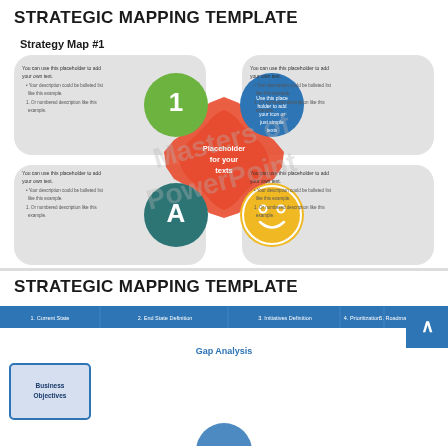STRATEGIC MAPPING TEMPLATE
Strategy Map #1
[Figure (infographic): Strategic map diagram with four quadrant cards (gray rounded rectangles) and colored circles (green with '1', blue with icon, teal with 'A', yellow smiley) connected by a red cross/star shape in the center labeled 'Placeholder for your texts'. Each card contains placeholder text.]
STRATEGIC MAPPING TEMPLATE
[Figure (infographic): Process tab bar with steps: 1. Current State, 2. End State Definition, 3. Initiatives Definition, 4. Prioritization, 5. Roadmap Development. Below is 'Gap Analysis' heading with a card labeled 'Business Objectives'.]